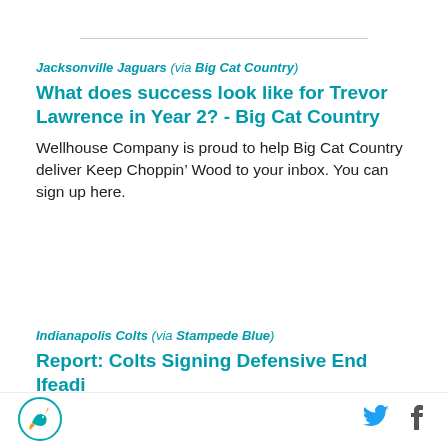Jacksonville Jaguars (via Big Cat Country)
What does success look like for Trevor Lawrence in Year 2? - Big Cat Country
Wellhouse Company is proud to help Big Cat Country deliver Keep Choppin’ Wood to your inbox. You can sign up here.
Indianapolis Colts (via Stampede Blue)
Report: Colts Signing Defensive End Ifeadi
[Figure (logo): Miami Dolphins logo circle badge]